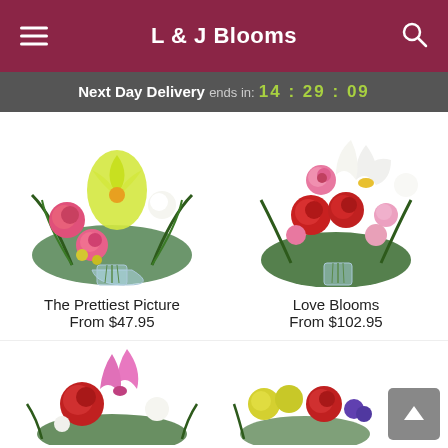L & J Blooms
Next Day Delivery ends in: 14:29:09
[Figure (photo): Floral arrangement with pink roses, yellow lilies, white flowers and greenery in a glass vase - The Prettiest Picture]
[Figure (photo): Floral arrangement with red and pink roses, white lilies, pink daisies and greenery in a glass vase - Love Blooms]
The Prettiest Picture
From $47.95
Love Blooms
From $102.95
[Figure (photo): Partial floral arrangement with pink lilies and red flowers - bottom left product]
[Figure (photo): Partial floral arrangement with yellow flowers, red roses and purple flowers - bottom right product]